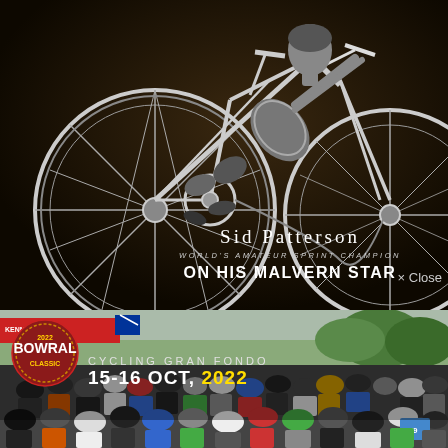[Figure (photo): Vintage black and white photograph/advertisement showing a cyclist on a bicycle, dark background, with text 'Sid Patterson WORLD'S AMATEUR SPRINT CHAMPION ON HIS MALVERN STAR']
Sid Patterson
WORLD'S AMATEUR SPRINT CHAMPION
ON HIS MALVERN STAR
× Close
[Figure (photo): Color photograph of a large crowd of cyclists at the start of the Bowral Classic Cycling Gran Fondo event, 2022, with cyclists wearing helmets and cycling gear, street scene with shops in background]
BOWRAL CLASSIC — CYCLING GRAN FONDO 15-16 OCT, 2022